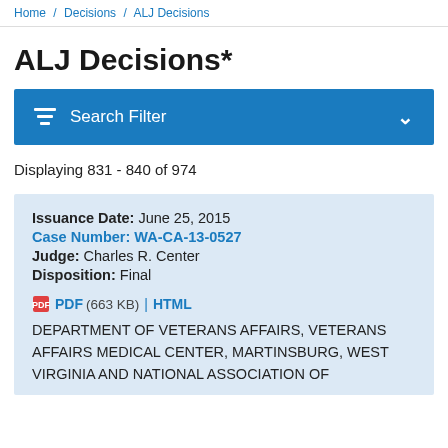Home / Decisions / ALJ Decisions
ALJ Decisions*
Search Filter
Displaying 831 - 840 of 974
Issuance Date: June 25, 2015
Case Number: WA-CA-13-0527
Judge: Charles R. Center
Disposition: Final
PDF (663 KB) | HTML
DEPARTMENT OF VETERANS AFFAIRS, VETERANS AFFAIRS MEDICAL CENTER, MARTINSBURG, WEST VIRGINIA AND NATIONAL ASSOCIATION OF